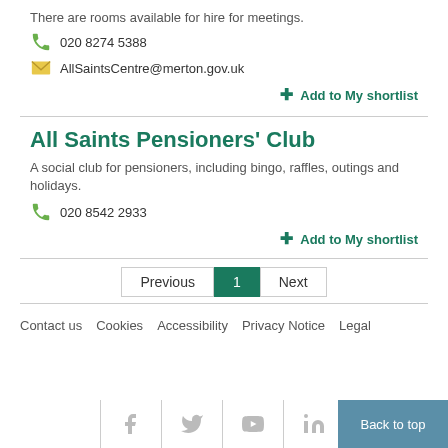There are rooms available for hire for meetings.
020 8274 5388
AllSaintsCentre@merton.gov.uk
+ Add to My shortlist
All Saints Pensioners' Club
A social club for pensioners, including bingo, raffles, outings and holidays.
020 8542 2933
+ Add to My shortlist
Previous  1  Next
Contact us  Cookies  Accessibility  Privacy Notice  Legal
Back to top